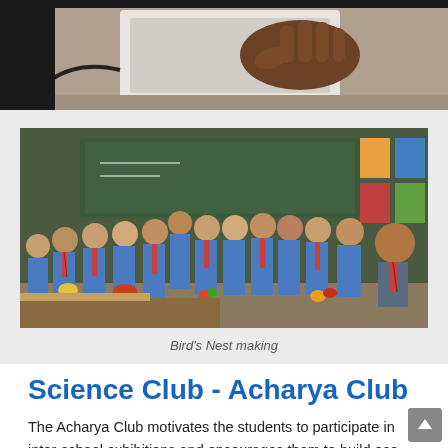[Figure (photo): Top portion of a photo showing a person's hand on a laptop keyboard at a desk, cropped at top of page]
[Figure (photo): Group of school children in blue and red uniforms standing in a classroom, holding items for Bird's Nest making activity]
Bird's Nest making
Science Club - Acharya Club
The Acharya Club motivates the students to participate in inter-school exhibitions and encourages them to build eco-friendly